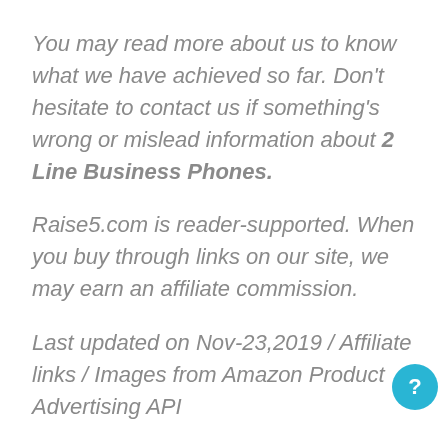You may read more about us to know what we have achieved so far. Don't hesitate to contact us if something's wrong or mislead information about 2 Line Business Phones.
Raise5.com is reader-supported. When you buy through links on our site, we may earn an affiliate commission.
Last updated on Nov-23,2019 / Affiliate links / Images from Amazon Product Advertising API